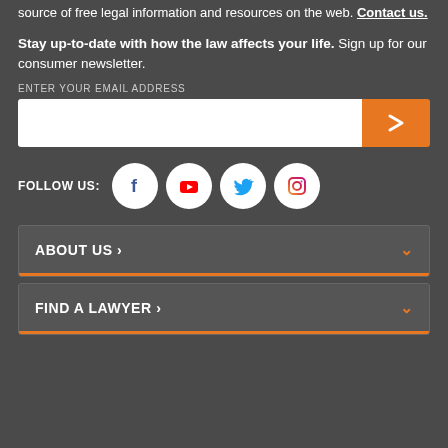source of free legal information and resources on the web. Contact us.
Stay up-to-date with how the law affects your life. Sign up for our consumer newsletter.
ENTER YOUR EMAIL ADDRESS
[Figure (infographic): Email input field with white background and orange submit button with right arrow]
[Figure (infographic): Social media follow icons: FOLLOW US: Facebook, YouTube, Twitter, Instagram circles]
ABOUT US >
FIND A LAWYER >